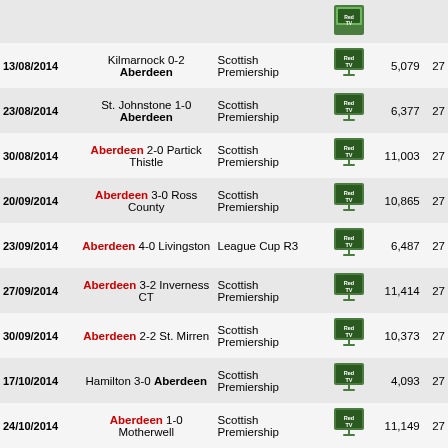| Date | Match | Competition | TV | Attendance | Num |
| --- | --- | --- | --- | --- | --- |
| 13/08/2014 | Kilmarnock 0-2 Aberdeen | Scottish Premiership | Red TV | 5,079 | 27 |
| 23/08/2014 | St. Johnstone 1-0 Aberdeen | Scottish Premiership | Red TV | 6,377 | 27 |
| 30/08/2014 | Aberdeen 2-0 Partick Thistle | Scottish Premiership | Red TV | 11,003 | 27 |
| 20/09/2014 | Aberdeen 3-0 Ross County | Scottish Premiership | Red TV | 10,865 | 27 |
| 23/09/2014 | Aberdeen 4-0 Livingston | League Cup R3 | Red TV | 6,487 | 27 |
| 27/09/2014 | Aberdeen 3-2 Inverness CT | Scottish Premiership | Red TV | 11,414 | 27 |
| 30/09/2014 | Aberdeen 2-2 St. Mirren | Scottish Premiership | Red TV | 10,373 | 27 |
| 17/10/2014 | Hamilton 3-0 Aberdeen | Scottish Premiership | Red TV | 4,093 | 27 |
| 24/10/2014 | Aberdeen 1-0 Motherwell | Scottish Premiership | Red TV | 11,149 | 27 |
| 29/10/2014 | Aberdeen 1-0 Hamilton | League Cup QF | Red TV | 9,311 | 27 |
| 03/11/2014 | Ross County 0-1 Aberdeen | Scottish Premiership | Red TV | 3,745 | 27 |
| 09/11/2014 | Aberdeen 1-2 Celtic | Scottish Premiership | Red TV | 19,051 | 27 |